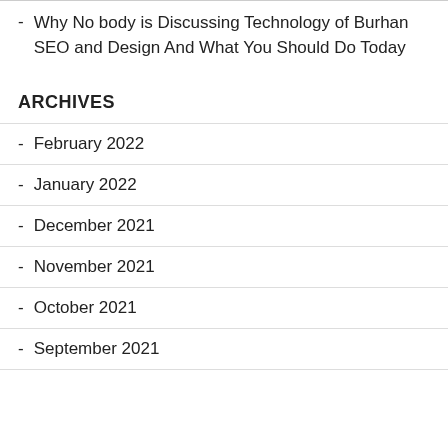Why No body is Discussing Technology of Burhan SEO and Design And What You Should Do Today
ARCHIVES
February 2022
January 2022
December 2021
November 2021
October 2021
September 2021